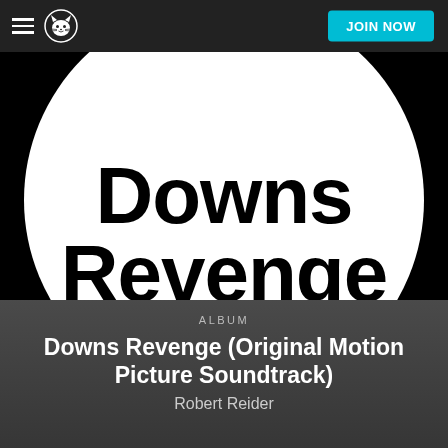JOIN NOW
[Figure (logo): Napster album page screenshot. Black background with a large white circle containing bold black text 'Downs Revenge'. The Napster navigation bar is at the top with hamburger menu, Napster cat logo, and a cyan 'JOIN NOW' button.]
ALBUM
Downs Revenge (Original Motion Picture Soundtrack)
Robert Reider